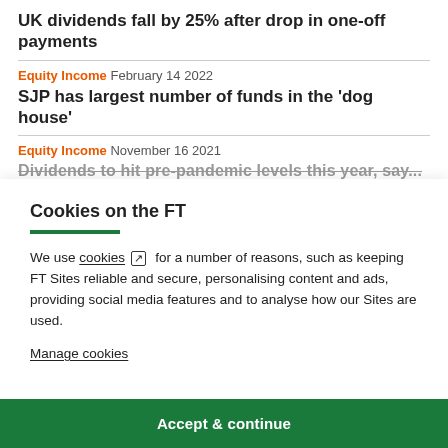UK dividends fall by 25% after drop in one-off payments
Equity Income  February 14 2022
SJP has largest number of funds in the 'dog house'
Equity Income  November 16 2021
Dividends to hit pre-pandemic levels this year, say...
Cookies on the FT
We use cookies ↗ for a number of reasons, such as keeping FT Sites reliable and secure, personalising content and ads, providing social media features and to analyse how our Sites are used.
Manage cookies
Accept & continue